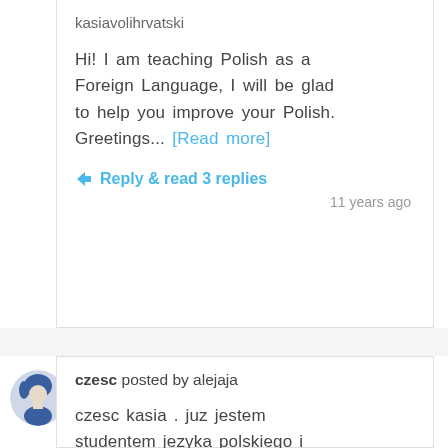kasiavolihrvatski
Hi! I am teaching Polish as a Foreign Language, I will be glad to help you improve your Polish. Greetings... [Read more]
Reply & read 3 replies
11 years ago
[Figure (illustration): Circular avatar icon of a user with a blue and gray illustration silhouette]
czesc posted by alejaja
czesc kasia . juz jestem studentem jezyka polskiego i sent you an... [Read more]